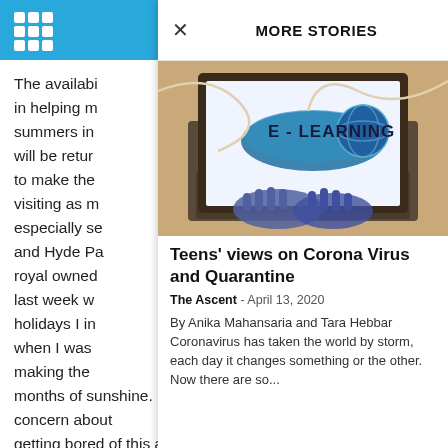[Figure (screenshot): Mobile app screenshot showing a 'MORE STORIES' panel overlaying a news article. The panel shows an article titled 'Teens' views on Corona Virus and Quarantine' with an e-learning laptop photo, published by The Ascent on April 13, 2020. Background text is partially visible on the left.]
The availabi... in helping m... summers in... will be retu... to make the... visiting as m... especially se... and Hyde Pa... royal owned... last week w... holidays I in... when I was... making the... months of sunshine. Ignored her concern about getting bored of this activity, something I found unimaginable for a seven-year-old child, especially
MORE STORIES
Teens' views on Corona Virus and Quarantine
The Ascent - April 13, 2020
By Anika Mahansaria and Tara Hebbar Coronavirus has taken the world by storm, each day it changes something or the other. Now there are so...